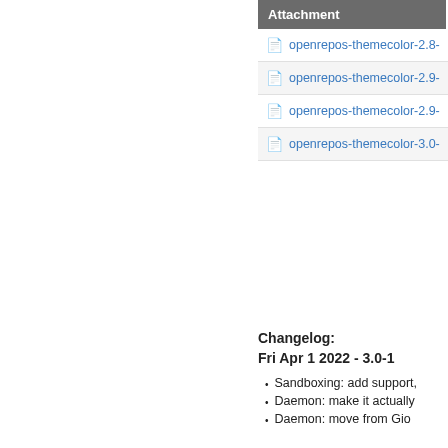| Attachment |
| --- |
| openrepos-themecolor-2.8-1... |
| openrepos-themecolor-2.9-1... |
| openrepos-themecolor-2.9-2... |
| openrepos-themecolor-3.0-1... |
Changelog:
Fri Apr 1 2022 - 3.0-1
Sandboxing: add support,
Daemon: make it actually
Daemon: move from Gio
Settings: remove Open Se
Performance: remove opa
Fri Oct 15 2021 - 2.9-2
Translations: update Frenc
Translations: update Swed